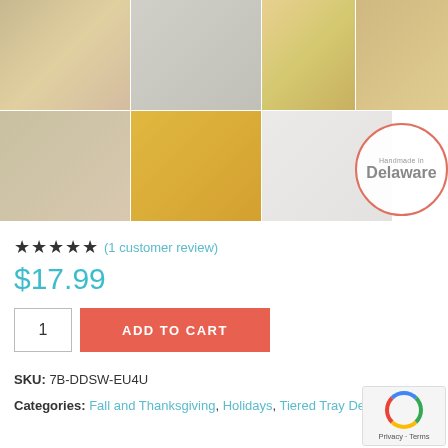[Figure (photo): Product photo collage showing 'Fall in Love' wooden sign decoration with autumn leaves and sunflowers, multiple angles including lifestyle shots and a 'Handmade in Delaware' badge]
★★★★★ (1 customer review)
$17.99
1  ADD TO CART
SKU: 7B-DDSW-EU4U
Categories: Fall and Thanksgiving, Holidays, Tiered Tray Decor,